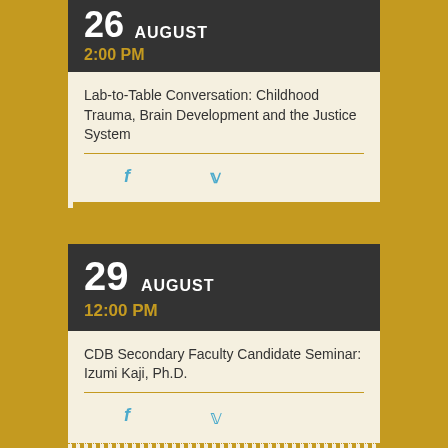AUGUST 2:00 PM
Lab-to-Table Conversation: Childhood Trauma, Brain Development and the Justice System
29 AUGUST 12:00 PM
CDB Secondary Faculty Candidate Seminar: Izumi Kaji, Ph.D.
9 SEPTEMBER